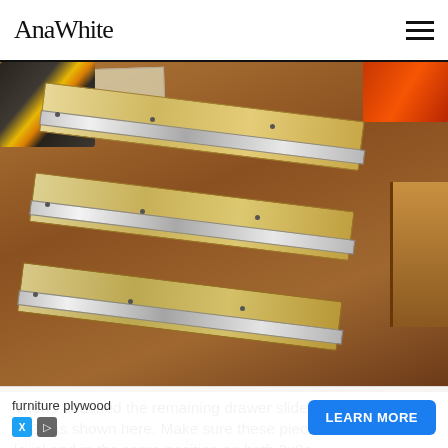AnaWhite
[Figure (photo): Photo of drawer slide pieces attached to 2x2 lumber pieces laid on a wooden workbench surface, with a drill and papers visible in the background.]
Then I attached the remaining drawer slide pieces to the 2x2s as shown here. Make sure these pieces are attached level and in the same position on both 2x2s.
This ... n the...s.
furniture plywood — LEARN MORE